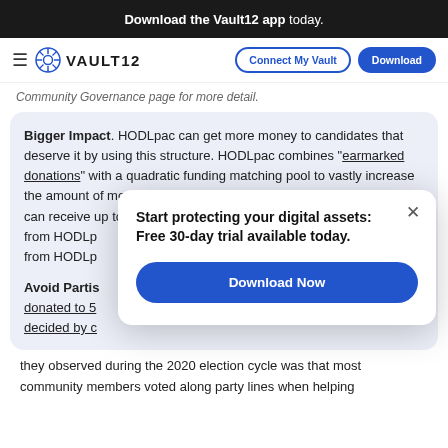Download the Vault12 app today.
VAULT12 | Connect My Vault | Download
Community Governance page for more detail.
Bigger Impact. HODLpac can get more money to candidates that deserve it by using this structure. HODLpac combines "earmarked donations" with a quadratic funding matching pool to vastly increase the amount of money we're able to raise for candidates. Candidates can receive up to $2,900 from each individual donor per ele… from HODLp… from HODLp…
Avoid Partis… donated to 5… decided by c… they observed during the 2020 election cycle was that most community members voted along party lines when helping
[Figure (infographic): Popup modal with text: Start protecting your digital assets: Free 30-day trial available today. With a Download Now button and close X button.]